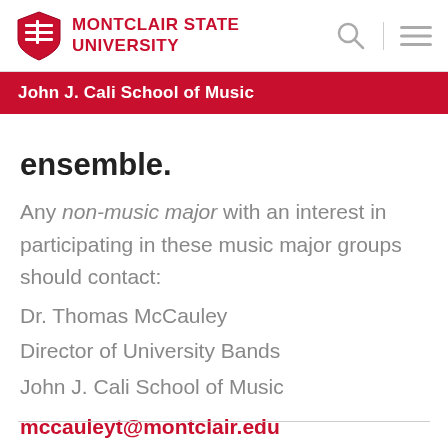Montclair State University
John J. Cali School of Music
ensemble.
Any non-music major with an interest in participating in these music major groups should contact:
Dr. Thomas McCauley
Director of University Bands
John J. Cali School of Music
mccauleyt@montclair.edu